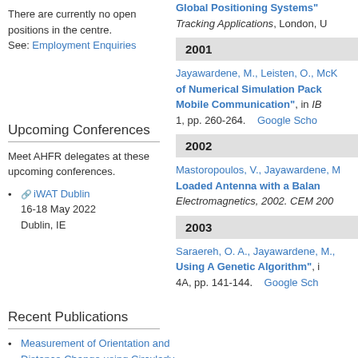There are currently no open positions in the centre. See: Employment Enquiries
Upcoming Conferences
Meet AHFR delegates at these upcoming conferences.
iWAT Dublin
16-18 May 2022
Dublin, IE
Recent Publications
Measurement of Orientation and Distance Change using Circularly Polarized UWB Signals
Energy-Efficient Dynamic
Global Positioning Systems
Tracking Applications, London, U
2001
Jayawardene, M., Leisten, O., Mc... of Numerical Simulation Pack... Mobile Communication", in IB... 1, pp. 260-264. Google Scho...
2002
Mastoropoulos, V., Jayawardene, M., Loaded Antenna with a Balan... Electromagnetics, 2002. CEM 200...
2003
Saraereh, O. A., Jayawardene, M., Using A Genetic Algorithm", i... 4A, pp. 141-144. Google Sch...